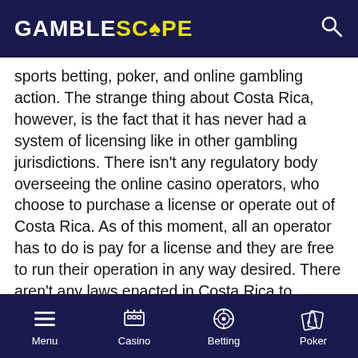GAMBLESCOPE
sports betting, poker, and online gambling action. The strange thing about Costa Rica, however, is the fact that it has never had a system of licensing like in other gambling jurisdictions. There isn't any regulatory body overseeing the online casino operators, who choose to purchase a license or operate out of Costa Rica. As of this moment, all an operator has to do is pay for a license and they are free to run their operation in any way desired. There aren't any laws enacted in Costa Rica to address the issue of online casinos. There is, however, a caveat which all online casinos licensed in Costa Rica must adhere to, and that is they are not allowed to take wagers from Costa Rican residents and citizens.
Menu  Casino  Betting  Poker